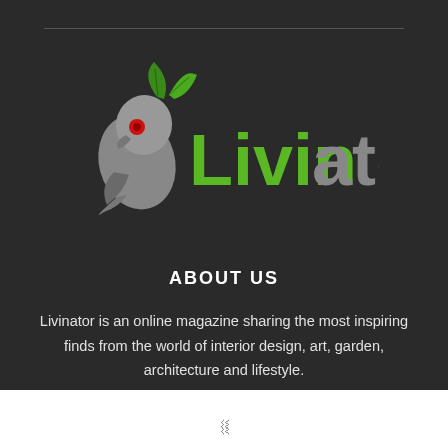[Figure (logo): Livinator logo: grey parrot/bird illustration with red eye and green leaf, next to the word 'Livinator' in grey and green lettering]
ABOUT US
Livinator is an online magazine sharing the most inspiring finds from the world of interior design, art, garden, architecture and lifestyle.